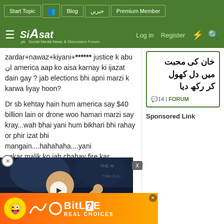Start Topic | Blog | خبریں | Premium Member | Log in | Register
[Figure (logo): Siasat.pk logo - Social Media News & Discussion Forum]
zardar+nawaz+kiyani+****** justice k abu ان america aap ko aisa karnay ki ijazat dain gay ? jab elections bhi apni marzi k karwa liyay hoon?
خان کی محبت میں دل کھول کر رکھ دیا
💬14 | FORUM
Sponsored Link
Dr sb kehtay hain hum america say $40 billion lain or drone woo hamari marzi say kray...wah bhai yani hum bikhari bhi rahay or phir izat bhi mangain....hahahaha....yani nekar malik ko jab chahay fire kar
mamla
[Figure (photo): Video overlay showing a man in suit gesturing, dark background with conference setting]
[Figure (screenshot): BitLife Real Choices advertisement banner with orange/yellow gradient background]